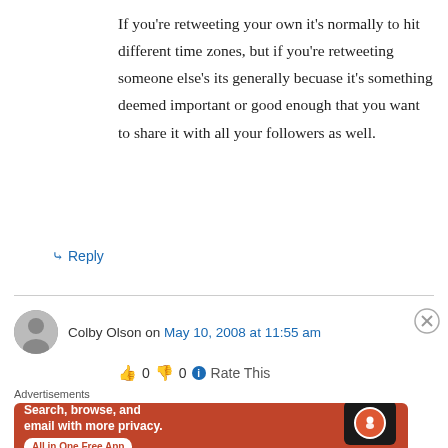If you're retweeting your own it's normally to hit different time zones, but if you're retweeting someone else's its generally becuase it's something deemed important or good enough that you want to share it with all your followers as well.
↳ Reply
Colby Olson on May 10, 2008 at 11:55 am
👍 0 👎 0 ℹ Rate This
Advertisements
[Figure (screenshot): DuckDuckGo advertisement banner: orange background with text 'Search, browse, and email with more privacy. All in One Free App' and DuckDuckGo logo on a phone mockup]